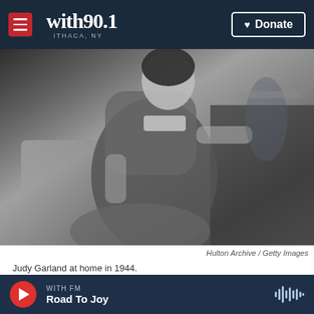with90.1 ITHACA, NY | Donate
[Figure (photo): Black and white vintage photograph of Judy Garland sitting at home in 1944, wearing a casual outfit, reading or looking at something near a desk or cabinet.]
Hulton Archive / Getty Images
Judy Garland at home in 1944.
It's safe to say The Wizard of Oz has been an entry
WITH FM  Road To Joy